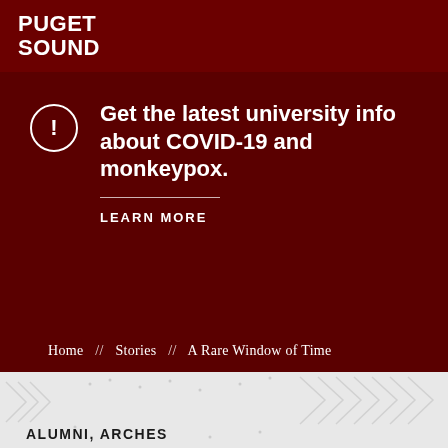PUGET SOUND
Get the latest university info about COVID-19 and monkeypox.
LEARN MORE
Home // Stories // A Rare Window of Time
ALUMNI, ARCHES